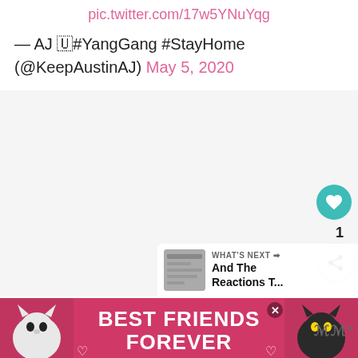pic.twitter.com/17w5YNuYqg
— AJ 🇺#YangGang #StayHome (@KeepAustinAJ) May 5, 2020
[Figure (screenshot): Embedded tweet image area with like (heart) button showing count of 1, and share button. A 'WHAT'S NEXT' panel shows in the bottom right with a thumbnail and text 'And The Reactions T...']
[Figure (photo): Advertisement banner showing two cats (black-and-white cat on left, black cat on right) with text 'BEST FRIENDS FOREVER' on pink/red background, with a close button and brand logo on the right]